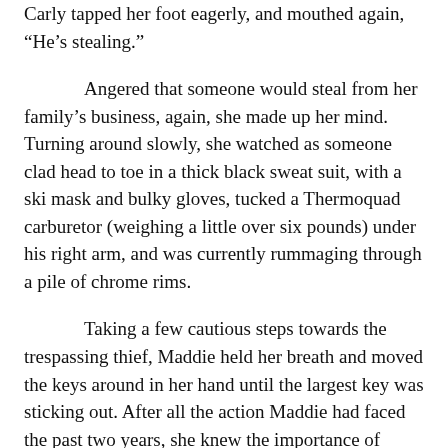Carly tapped her foot eagerly, and mouthed again, “He’s stealing.”
Angered that someone would steal from her family’s business, again, she made up her mind. Turning around slowly, she watched as someone clad head to toe in a thick black sweat suit, with a ski mask and bulky gloves, tucked a Thermoquad carburetor (weighing a little over six pounds) under his right arm, and was currently rummaging through a pile of chrome rims.
Taking a few cautious steps towards the trespassing thief, Maddie held her breath and moved the keys around in her hand until the largest key was sticking out. After all the action Maddie had faced the past two years, she knew the importance of using whatever you had available to protect yourself.